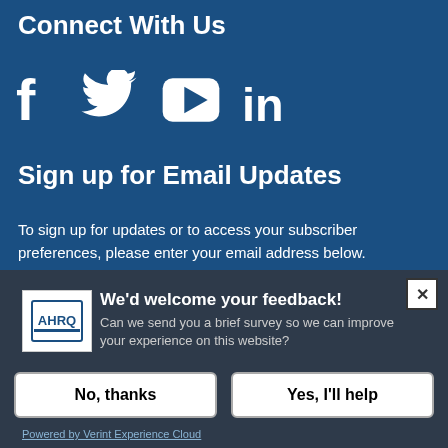Connect With Us
[Figure (illustration): Social media icons: Facebook (f), Twitter (bird), YouTube (play button), LinkedIn (in)]
Sign up for Email Updates
To sign up for updates or to access your subscriber preferences, please enter your email address below.
We'd welcome your feedback!
Can we send you a brief survey so we can improve your experience on this website?
No, thanks
Yes, I'll help
Powered by Verint Experience Cloud